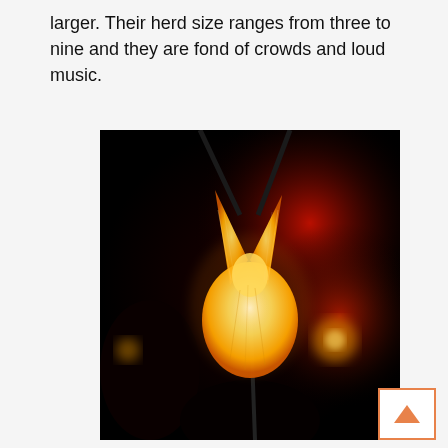larger. Their herd size ranges from three to nine and they are fond of crowds and loud music.
[Figure (photo): A close-up photograph of a glowing illuminated paper or fabric sculpture shaped like an antelope or deer head with horns, held up in a dark crowd setting with red and orange bokeh lights in the background.]